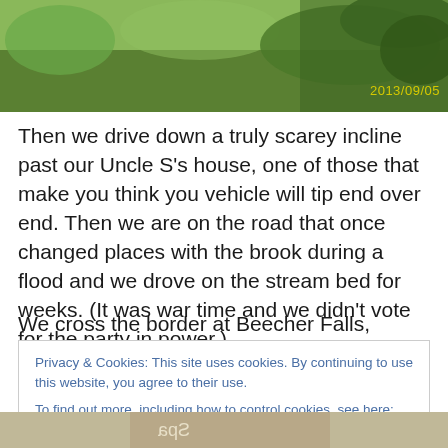[Figure (photo): Outdoor photograph showing green grass and shrubs/bushes, with a yellow timestamp '2013/09/05' in the bottom right corner.]
Then we drive down a truly scarey incline past our Uncle S's house, one of those that make you think you vehicle will tip end over end. Then we are on the road that once changed places with the brook during a flood and we drove on the stream bed for weeks. (It was war time and we didn't vote for the party in power,)
We cross the border at Beecher Falls, discovering that the
Privacy & Cookies: This site uses cookies. By continuing to use this website, you agree to their use.
To find out more, including how to control cookies, see here: Cookie Policy
Close and accept
[Figure (photo): Partial bottom photo showing what appears to be a sign or image, partially visible.]